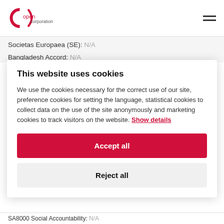opencorporation logo and hamburger menu
Societas Europaea (SE): N/A
Bangladesh Accord: N/A
This website uses cookies
We use the cookies necessary for the correct use of our site, preference cookies for setting the language, statistical cookies to collect data on the use of the site anonymously and marketing cookies to track visitors on the website. Show details
Accept all
Reject all
SA8000 Social Accountability: N/A